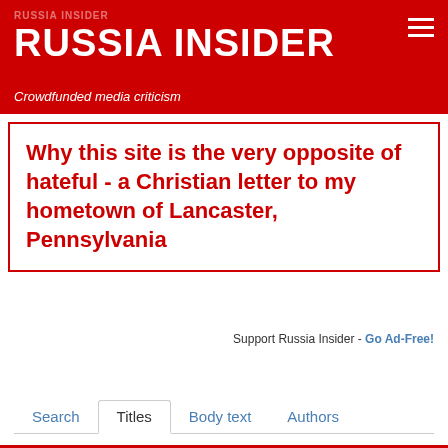RUSSIA INSIDER
Crowdfunded media criticism
Why this site is the very opposite of hateful - a Christian letter to my hometown of Lancaster, Pennsylvania
Support Russia Insider - Go Ad-Free!
Search  Titles  Body text  Authors
Publications